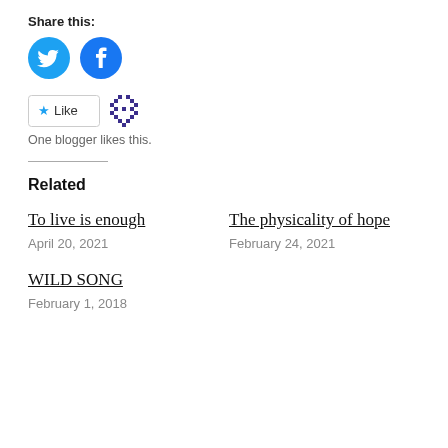Share this:
[Figure (illustration): Twitter and Facebook circular social share icon buttons in blue]
[Figure (illustration): Like button with star icon and a small blogger avatar icon]
One blogger likes this.
Related
To live is enough
April 20, 2021
The physicality of hope
February 24, 2021
WILD SONG
February 1, 2018